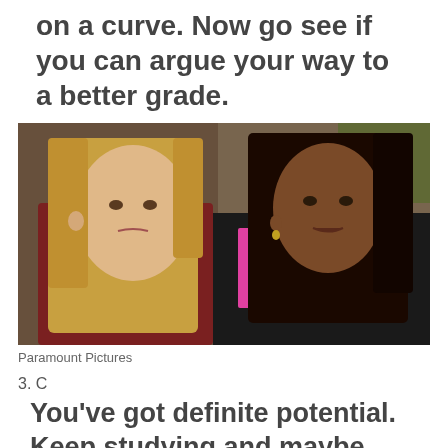You're lucky this was graded on a curve. Now go see if you can argue your way to a better grade.
[Figure (photo): Still from the movie Clueless (Paramount Pictures) showing two young women with surprised expressions]
Paramount Pictures
3. C
You've got definite potential. Keep studying and maybe